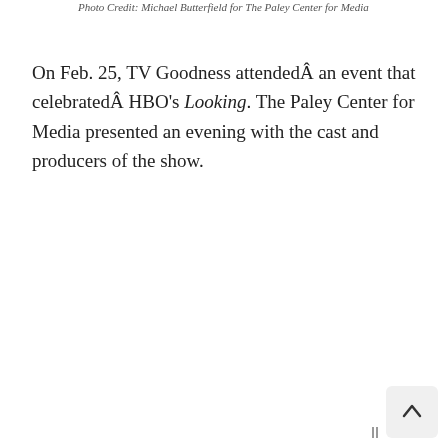Photo Credit: Michael Butterfield for The Paley Center for Media
On Feb. 25, TV Goodness attendedÂ an event that celebratedÂ HBO's Looking. The Paley Center for Media presented an evening with the cast and producers of the show.